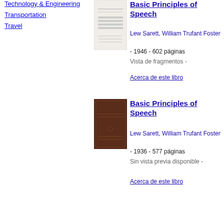Technology & Engineering
Transportation
Travel
[Figure (illustration): Thumbnail image of book cover for Basic Principles of Speech (1946 edition), showing text on a light background]
Basic Principles of Speech
Lew Sarett, William Trufant Foster - 1946 - 602 páginas
Vista de fragmentos -
Acerca de este libro
[Figure (illustration): Thumbnail image of book cover for Basic Principles of Speech (1936 edition), showing a dark brown/maroon hardcover book]
Basic Principles of Speech
Lew Sarett, William Trufant Foster - 1936 - 577 páginas
Sin vista previa disponible -
Acerca de este libro